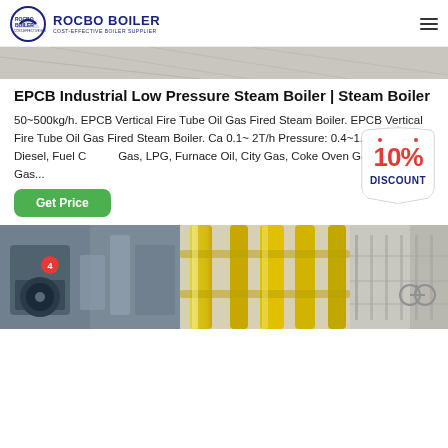[Figure (logo): Rocbo Boiler logo with blue crescent icon and text 'ROCBO BOILER - COST-EFFECTIVE BOILER SUPPLIER']
[Figure (photo): Industrial boiler facility hero image, top partial view]
EPCB Industrial Low Pressure Steam Boiler | Steam Boiler
50~500kg/h. EPCB Vertical Fire Tube Oil Gas Fired Steam Boiler. EPCB Vertical Fire Tube Oil Gas Fired Steam Boiler. Ca 0.1~ 2T/h Pressure: 0.4~1.25MPa Fuel: Diesel, Fuel C Gas, LPG, Furnace Oil, City Gas, Coke Oven Gas, Methane Gas...
[Figure (other): 10% DISCOUNT badge/sticker in red and blue]
[Figure (photo): Get Price green button]
[Figure (photo): Bottom row of industrial boiler facility photos: left shows gray industrial boiler machinery, center shows yellow gas piping, right shows white industrial building structure]